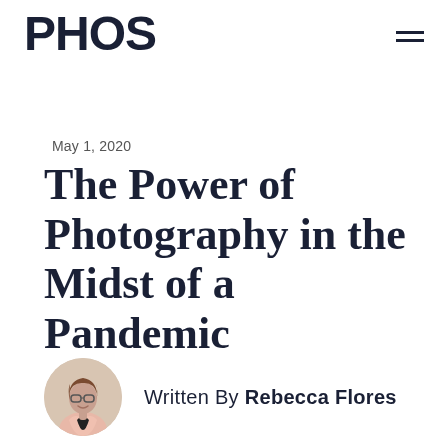PHOS
May 1, 2020
The Power of Photography in the Midst of a Pandemic
Written By Rebecca Flores